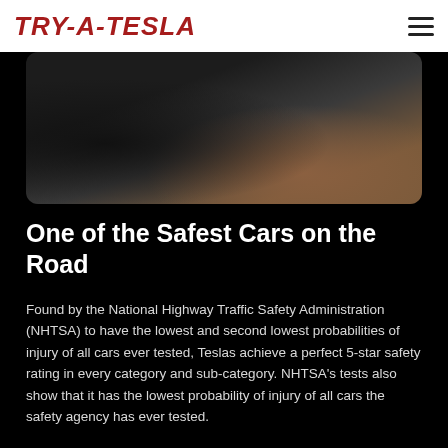TRY-A-TESLA
[Figure (photo): Close-up photo of a Tesla car wheel/tire on a dark textured road surface with some copper/bronze colored stripes visible in the background]
One of the Safest Cars on the Road
Found by the National Highway Traffic Safety Administration (NHTSA) to have the lowest and second lowest probabilities of injury of all cars ever tested, Teslas achieve a perfect 5-star safety rating in every category and sub-category. NHTSA's tests also show that it has the lowest probability of injury of all cars the safety agency has ever tested.